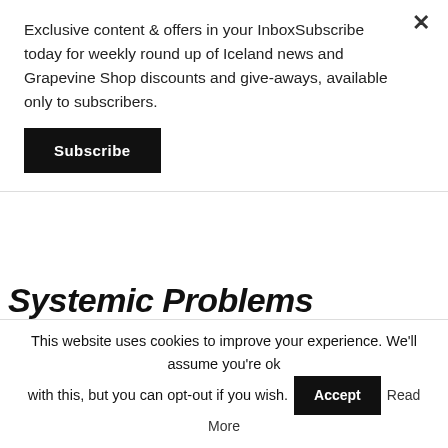Exclusive content & offers in your InboxSubscribe today for weekly round up of Iceland news and Grapevine Shop discounts and give-aways, available only to subscribers.
Subscribe
Systemic Problems
Published October 3, 2018
[Figure (photo): Workers in yellow protective gear and helmets working near yellow tarpaulin sheeting and scaffolding in a construction or industrial setting.]
This website uses cookies to improve your experience. We'll assume you're ok with this, but you can opt-out if you wish.